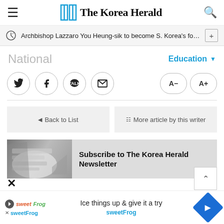The Korea Herald
Archbishop Lazzaro You Heung-sik to become S. Korea's fourth c...
National
Education
Back to List | More article by this writer
[Figure (other): Subscribe to The Korea Herald Newsletter banner with newspaper image]
Ice things up & give it a try sweetFrog